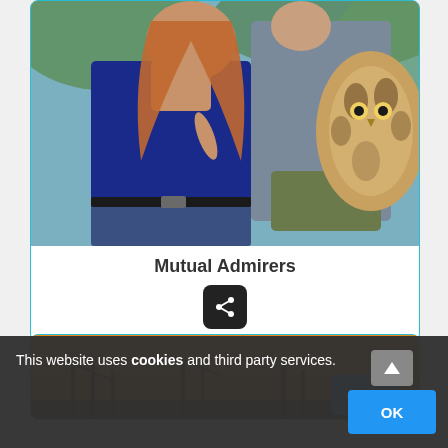[Figure (photo): A woman with long auburn hair wearing a blue tank top, pointing at an owl perched on someone's gloved hand. The background is outdoors with green foliage.]
Mutual Admirers
[Figure (other): Share button icon (dark rounded square with share/network icon)]
[Figure (photo): Partial image of a desert or industrial landscape with an orange/yellow sky, partially visible at the bottom of the page.]
This website uses cookies and third party services.